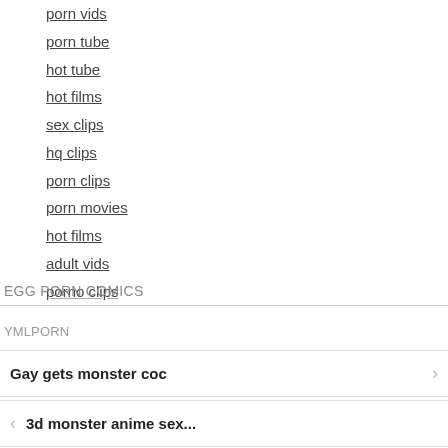porn vids
porn tube
hot tube
hot films
sex clips
hq clips
porn clips
porn movies
hot films
adult vids
porno clips
EGG PORN COMICS
YMLPORN
Gay gets monster coc
3d monster anime sex...